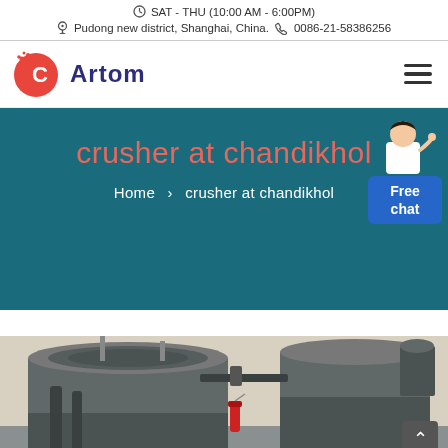SAT - THU (10:00 AM - 6:00PM)
Pudong new district, Shanghai, China.  0086-21-58386256
[Figure (logo): Artom company logo with red circular C icon and dark blue Artom text]
crusher at chandikhol
Home > crusher at chandikhol
[Figure (photo): Industrial crusher machine equipment photographed in a factory setting, showing large circular metal cylinders and mechanical components]